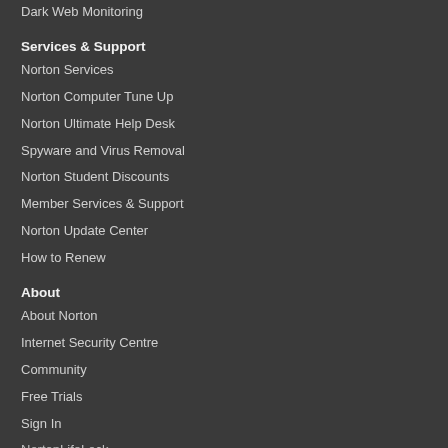Dark Web Monitoring
Services & Support
Norton Services
Norton Computer Tune Up
Norton Ultimate Help Desk
Spyware and Virus Removal
Norton Student Discounts
Member Services & Support
Norton Update Center
How to Renew
About
About Norton
Internet Security Centre
Community
Free Trials
Sign In
NortonLifeLock